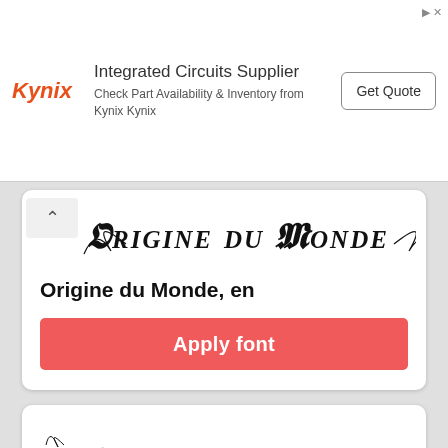[Figure (screenshot): Advertisement banner: Kynix logo (red italic), 'Integrated Circuits Supplier', 'Check Part Availability & Inventory from Kynix Kynix', and a 'Get Quote' button]
[Figure (illustration): Ornate calligraphic/blackletter font preview text 'Origine du Monde' in decorative style]
Origine du Monde, en
[Figure (illustration): Red 'Apply font' button]
[Figure (illustration): Cursive/handwriting font preview text 'Ruf In Den Wind']
Ruf In Den Wind, en
Please, share link to our service,